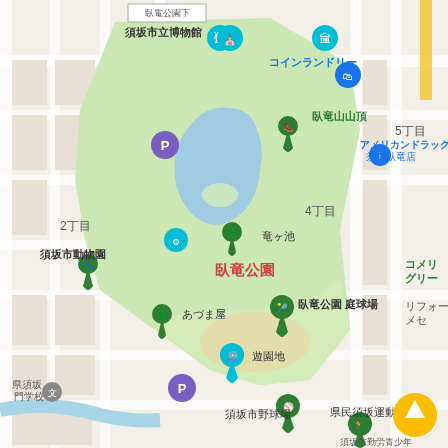[Figure (map): Google Maps screenshot showing Garyu Park (臥竜公園) in Suzaka City, Nagano, Japan. The map shows a large green park area with a blue pond (竜ヶ池), surrounded by city streets. Various map pins mark locations including 須坂市立博物館 (Suzaka City Museum), 臥竜山山頂 (Mt. Garyu Summit), コインランドリー (coin laundry), 須坂市動物園 (Suzaka City Zoo), あづま屋 (Azumaya), 臥竜公園 庭球場 (tennis courts), 遊園地 (amusement park), 須坂市野球場 (baseball stadium), 県民須坂運動広場 (prefectural sports ground), アメリカンドラッグ須坂臥竜店, コメリグリーン, リフォームメセ, 県須坂門学校. District labels show 2丁目, 4丁目, 5丁目. The park area is labeled 臥竜公園 in red text. A parking icon (P) appears twice. A yellow navigation button appears in the bottom right corner.]